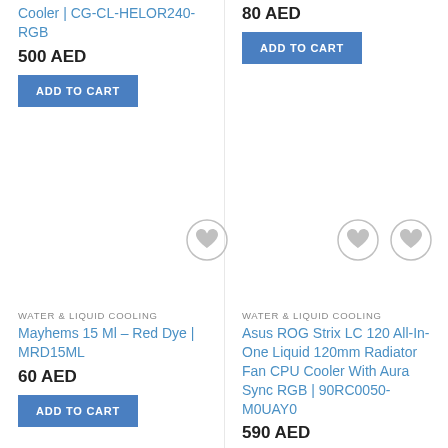Cooler | CG-CL-HELOR240-RGB
500 AED
ADD TO CART
80 AED
ADD TO CART
WATER & LIQUID COOLING
Mayhems 15 Ml – Red Dye | MRD15ML
60 AED
ADD TO CART
WATER & LIQUID COOLING
Asus ROG Strix LC 120 All-In-One Liquid 120mm Radiator Fan CPU Cooler With Aura Sync RGB | 90RC0050-M0UAY0
590 AED